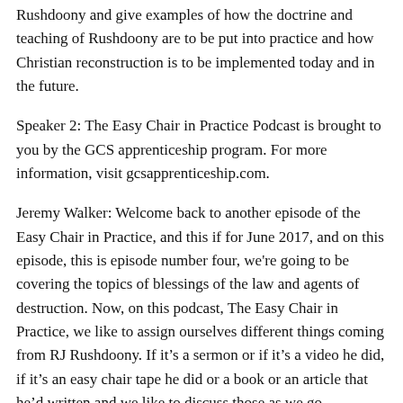Rushdoony and give examples of how the doctrine and teaching of Rushdoony are to be put into practice and how Christian reconstruction is to be implemented today and in the future.
Speaker 2: The Easy Chair in Practice Podcast is brought to you by the GCS apprenticeship program. For more information, visit gcsapprenticeship.com.
Jeremy Walker: Welcome back to another episode of the Easy Chair in Practice, and this if for June 2017, and on this episode, this is episode number four, we're going to be covering the topics of blessings of the law and agents of destruction. Now, on this podcast, The Easy Chair in Practice, we like to assign ourselves different things coming from RJ Rushdoony. If it's a sermon or if it's a video he did, if it's an easy chair tape he did or a book or an article that he'd written and we like to discuss those as we go throughout this podcast and kind of center our stuff around something he has